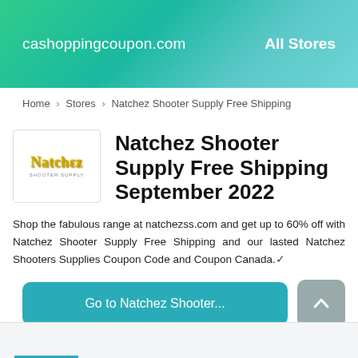cashoppingcoupon.com   All Stores
Home > Stores > Natchez Shooter Supply Free Shipping
[Figure (logo): Natchez logo with gold stylized text on white background]
Natchez Shooter Supply Free Shipping September 2022
Shop the fabulous range at natchezss.com and get up to 60% off with Natchez Shooter Supply Free Shipping and our lasted Natchez Shooters Supplies Coupon Code and Coupon Canada.
Go to Natchez Shooter...